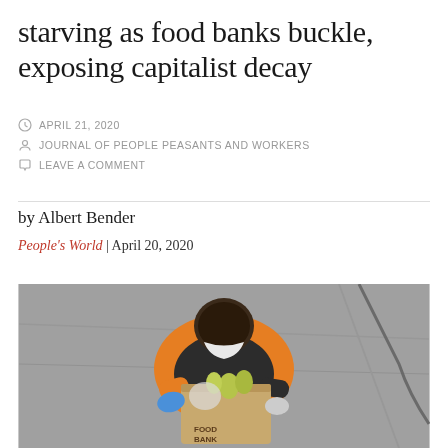starving as food banks buckle, exposing capitalist decay
APRIL 21, 2020
JOURNAL OF PEOPLE PEASANTS AND WORKERS
LEAVE A COMMENT
by Albert Bender
People's World | April 20, 2020
[Figure (photo): Aerial view of a person wearing an orange vest and face mask carrying a cardboard Food Bank box filled with produce including pears and other food items on a asphalt surface.]